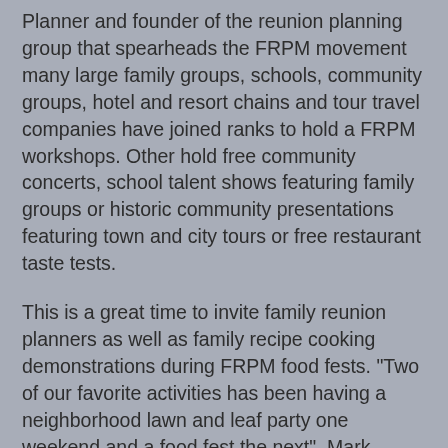Planner and founder of the reunion planning group that spearheads the FRPM movement many large family groups, schools, community groups, hotel and resort chains and tour travel companies have joined ranks to hold a FRPM workshops. Other hold free community concerts, school talent shows featuring family groups or historic community presentations featuring town and city tours or free restaurant taste tests.
This is a great time to invite family reunion planners as well as family recipe cooking demonstrations during FRPM food fests. "Two of our favorite activities has been having a neighborhood lawn and leaf party one weekend and a food fest the next", Mark reminisces.
Mutual support in the household engenders sustainable personal, community and  economic growth as families focus on family union. The key is by promoting fun and lively activities such as genealogy presentations, creative talent shows, culture fests, tourism and community and neighborhood volunteer work all with a view to family and community empowerment.
During Family Reunion Planning Month families take the